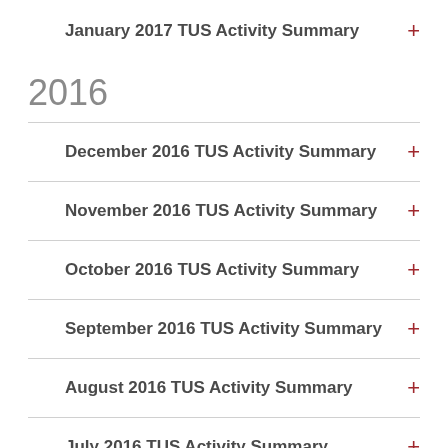January 2017 TUS Activity Summary
2016
December 2016 TUS Activity Summary
November 2016 TUS Activity Summary
October 2016 TUS Activity Summary
September 2016 TUS Activity Summary
August 2016 TUS Activity Summary
July 2016 TUS Activity Summary
June 2016 TUS Activity Summary